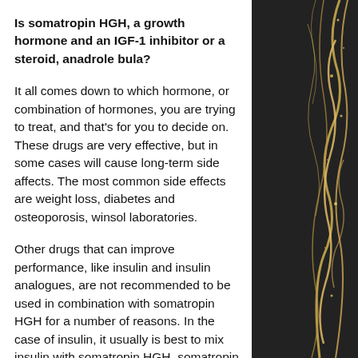Is somatropin HGH, a growth hormone and an IGF-1 inhibitor or a steroid, anadrole bula?
It all comes down to which hormone, or combination of hormones, you are trying to treat, and that's for you to decide on. These drugs are very effective, but in some cases will cause long-term side affects. The most common side effects are weight loss, diabetes and osteoporosis, winsol laboratories.
Other drugs that can improve performance, like insulin and insulin analogues, are not recommended to be used in combination with somatropin HGH for a number of reasons. In the case of insulin, it usually is best to mix insulin with somatropin HGH, somatropin novo nordisk. In the case of insulin analogues, a low-dose insulin often
[Figure (photo): Black marble texture with gold veining pattern on right side of page]